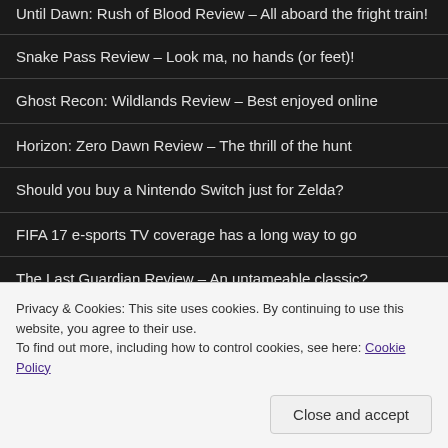Until Dawn: Rush of Blood Review – All aboard the fright train!
Snake Pass Review – Look ma, no hands (or feet)!
Ghost Recon: Wildlands Review – Best enjoyed online
Horizon: Zero Dawn Review – The thrill of the hunt
Should you buy a Nintendo Switch just for Zelda?
FIFA 17 e-sports TV coverage has a long way to go
The Last Guardian Review – An untameable classic?
ARCHIVES
Privacy & Cookies: This site uses cookies. By continuing to use this website, you agree to their use.
To find out more, including how to control cookies, see here: Cookie Policy
Close and accept